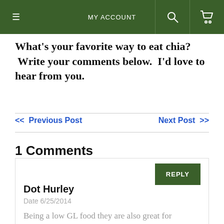MY ACCOUNT
What's your favorite way to eat chia?  Write your comments below.  I'd love to hear from you.
<< Previous Post    Next Post >>
1 Comments
Dot Hurley
Date 6/25/2014
Being a low GL food they are also great for